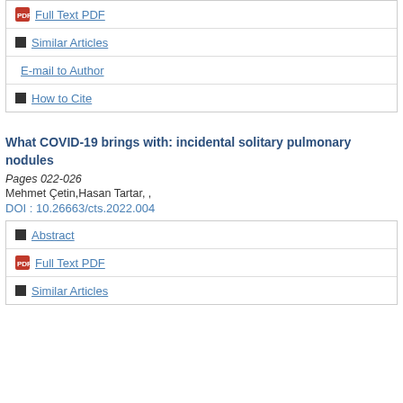Full Text PDF
Similar Articles
E-mail to Author
How to Cite
What COVID-19 brings with: incidental solitary pulmonary nodules
Pages 022-026
Mehmet Çetin,Hasan Tartar, ,
DOI : 10.26663/cts.2022.004
Abstract
Full Text PDF
Similar Articles